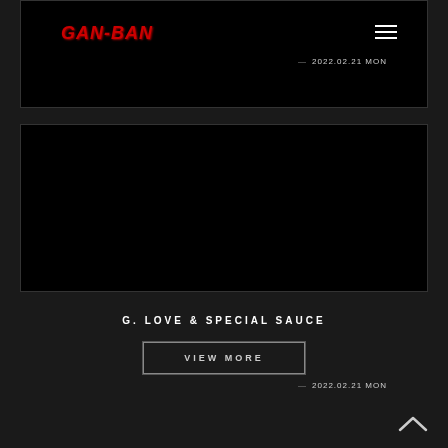TICKET
[Figure (logo): GAN-BAN logo in red italic graffiti-style text on black background with hamburger menu icon top right and date 2022.02.21 MON]
[Figure (other): Black card featuring artist name G. LOVE & SPECIAL SAUCE centered, with date 2022.02.21 MON at bottom right]
VIEW MORE
[Figure (other): Back to top chevron arrow icon]